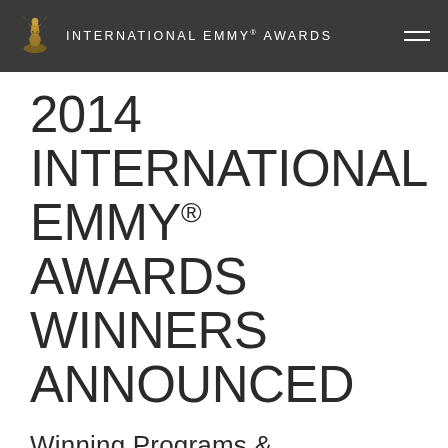INTERNATIONAL EMMY® AWARDS
2014 INTERNATIONAL EMMY® AWARDS WINNERS ANNOUNCED
Winning Programs & Performances Span 8 Countries: Belgium, Brazil, Canada, Germany, The Netherlands, Sweden, The United Kingdom,